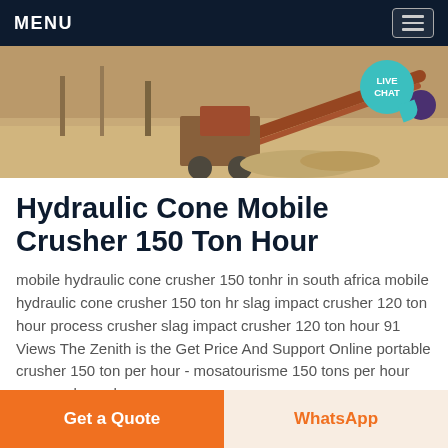MENU
[Figure (photo): Outdoor photo of a mobile crushing machine/conveyor on sandy terrain with LIVE CHAT badge overlay]
Hydraulic Cone Mobile Crusher 150 Ton Hour
mobile hydraulic cone crusher 150 tonhr in south africa mobile hydraulic cone crusher 150 ton hr slag impact crusher 120 ton hour process crusher slag impact crusher 120 ton hour 91 Views The Zenith is the Get Price And Support Online portable crusher 150 ton per hour - mosatourisme 150 tons per hour cone rock crusher
Get a Quote
WhatsApp